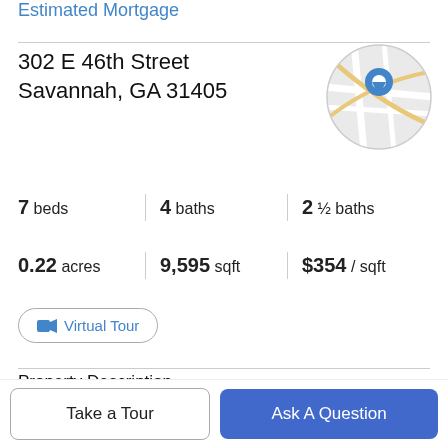Estimated Mortgage
302 E 46th Street
Savannah, GA 31405
[Figure (map): Circular map thumbnail showing street map with blue location pin marker]
7 beds | 4 baths | 2 ½ baths
0.22 acres | 9,595 sqft | $354 / sqft
Virtual Tour
Property Description
One of Ardsley Parks most iconic homes! Amazing opportunity for multi-generational living! This estate has
Take a Tour
Ask A Question
floor. 3 beds on the lower. Upstairs has 3 full baths and 1